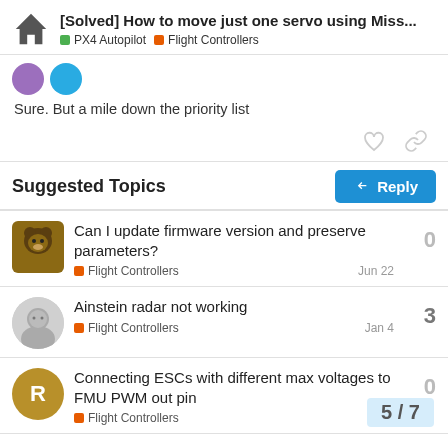[Solved] How to move just one servo using Miss... | PX4 Autopilot | Flight Controllers
Sure. But a mile down the priority list
Suggested Topics
Can I update firmware version and preserve parameters? | Flight Controllers | Jun 22 | 0
Ainstein radar not working | Flight Controllers | Jan 4 | 3
Connecting ESCs with different max voltages to FMU PWM out pin | Flight Controllers | 0